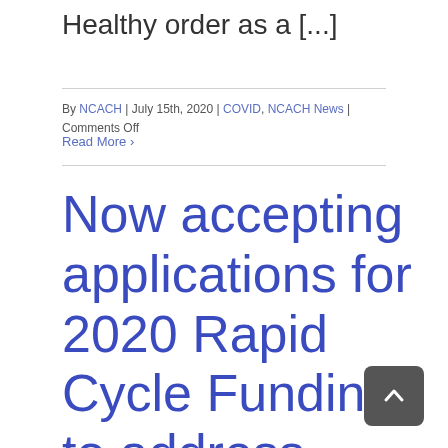Healthy order as a [...]
By NCACH | July 15th, 2020 | COVID, NCACH News | Comments Off
Read More >
Now accepting applications for 2020 Rapid Cycle Funding to address Opioid Use Public Health Crisis